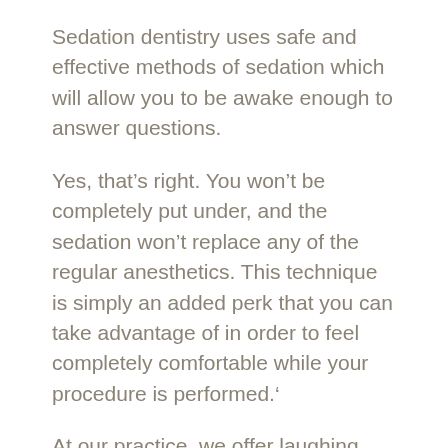Sedation dentistry uses safe and effective methods of sedation which will allow you to be awake enough to answer questions.
Yes, that’s right. You won’t be completely put under, and the sedation won’t replace any of the regular anesthetics. This technique is simply an added perk that you can take advantage of in order to feel completely comfortable while your procedure is performed.’
At our practice, we offer laughing gas sedation as our primary sedation option.
LAUGHING GAS SEDATION